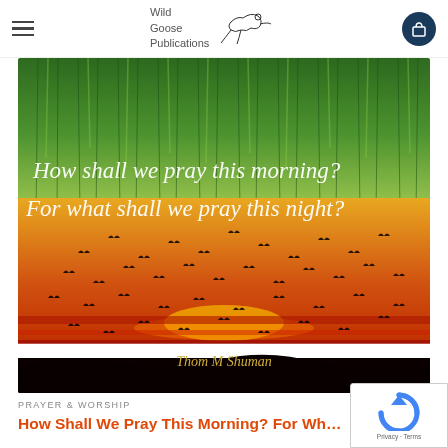Wild Goose Publications
[Figure (illustration): Book cover for 'How shall we pray this morning? For what shall we pray this night?' by Thom M Shuman. Top half shows green reeds/grass, bottom half a dramatic sunset with birds in silhouette. White italic text overlaid on the image shows the title, and golden italic text at the bottom shows the author name.]
PRAYER & WORSHIP
How Shall We Pray This Morning? For What Shall